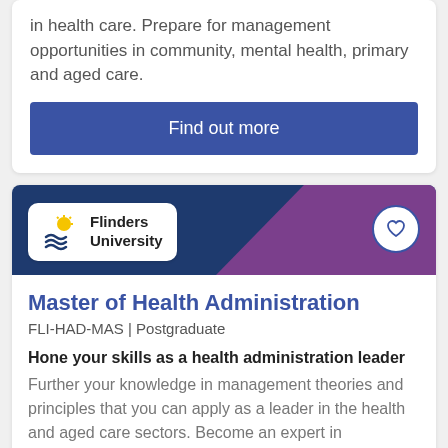in health care. Prepare for management opportunities in community, mental health, primary and aged care.
Find out more
[Figure (logo): Flinders University logo with sun and wave icon]
Master of Health Administration
FLI-HAD-MAS | Postgraduate
Hone your skills as a health administration leader
Further your knowledge in management theories and principles that you can apply as a leader in the health and aged care sectors. Become an expert in understanding health systems, including their leadership, finances, operations, safety and digitisation.